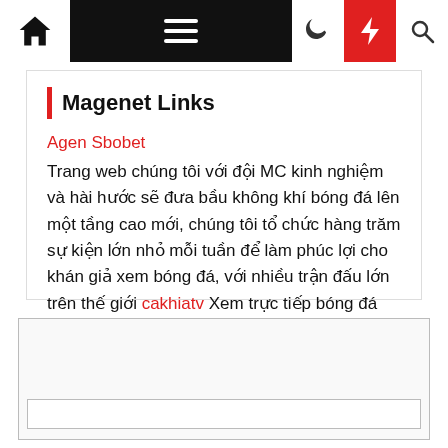Navigation bar with home, menu, moon, bolt, search icons
Magenet Links
Agen Sbobet
Trang web chúng tôi với đội MC kinh nghiệm và hài hước sẽ đưa bầu không khí bóng đá lên một tầng cao mới, chúng tôi tổ chức hàng trăm sự kiện lớn nhỏ mỗi tuần để làm phúc lợi cho khán giả xem bóng đá, với nhiều trận đấu lớn trên thế giới cakhiatv Xem trực tiếp bóng đá 24h , với những giải lớn đến nhỏ, như là World Cup, Premier League , Europa League,Champions League ....